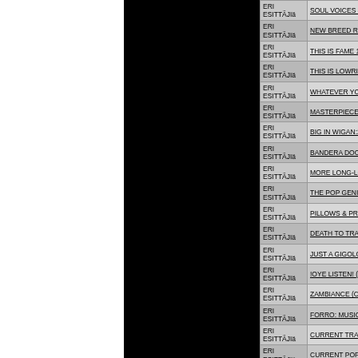| Presenter | Title |
| --- | --- |
| ERI ESITTÄJIä | SOUL VOICES ~ 60s BIG BALLADS (… |
| ERI ESITTÄJIä | NEW BREED R&B ~ SATURDAY NIG… |
| ERI ESITTÄJIä | THIS IS FAME 1964-1968 (CD) |
| ERI ESITTÄJIä | THIS IS LOWRIDER SOUL VOL 2 (CD… |
| ERI ESITTÄJIä | WHATEVER YOU WANT ~ BOB CRE… |
| ERI ESITTÄJIä | MASTERPIECES OF MODERN SOUL… |
| ERI ESITTÄJIä | BIG IN WIGAN:20 NORTHERN MAMM… |
| ERI ESITTÄJIä | BANDERA DOO WOP (CD) |
| ERI ESITTÄJIä | MORE LONG-LOST HONKERS & TW… |
| ERI ESITTÄJIä | THE POP GENIUS OF MICKIE MOST… |
| ERI ESITTÄJIä | PILLOWS & PRAYERS VOLS 1 & 2 (2… |
| ERI ESITTÄJIä | DEATH TO TRAD ROCK (CD) |
| ERI ESITTÄJIä | JUST A GIGOLO: ORIGINAL MOTION… |
| ERI ESITTÄJIä | !OYE LISTEN! (CD) |
| ERI ESITTÄJIä | ZAMBIANCE (CD) |
| ERI ESITTÄJIä | FORRO: MUSIC FOR MAIDS AND TA… |
| ERI ESITTÄJIä | CURRENT TRADITIONAL MUSIC OF… |
| ERI ESITTÄJIä | CURRENT POPULAR MUSIC OF MA… |
| ERI ESITTÄJIä | HYMNS AND HYMLAS (CD) |